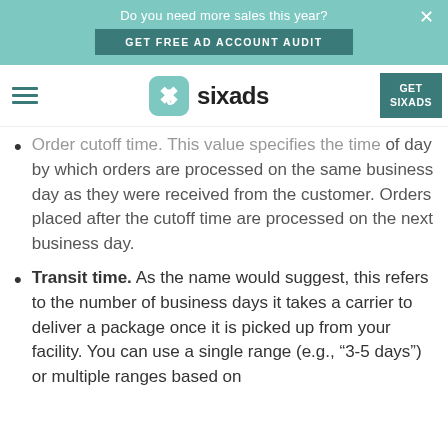Do you need more sales this year? GET FREE AD ACCOUNT AUDIT
sixads | GET SIXADS
Order cutoff time. This value specifies the time of day by which orders are processed on the same business day as they were received from the customer. Orders placed after the cutoff time are processed on the next business day.
Transit time. As the name would suggest, this refers to the number of business days it takes a carrier to deliver a package once it is picked up from your facility. You can use a single range (e.g., “3-5 days”) or multiple ranges based on